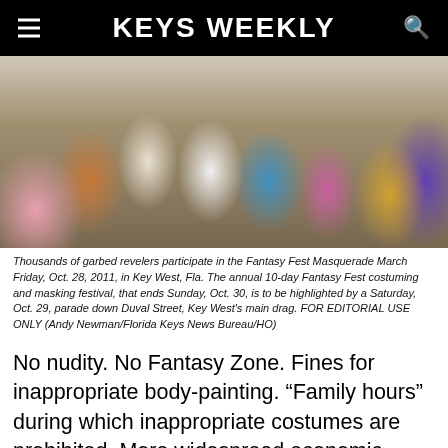KEYS WEEKLY
[Figure (photo): A large crowd of costumed and body-painted revelers participating in the Fantasy Fest Masquerade March in Key West, Florida.]
Thousands of garbed revelers participate in the Fantasy Fest Masquerade March Friday, Oct. 28, 2011, in Key West, Fla. The annual 10-day Fantasy Fest costuming and masking festival, that ends Sunday, Oct. 30, is to be highlighted by a Saturday, Oct. 29, parade down Duval Street, Key West's main drag. FOR EDITORIAL USE ONLY (Andy Newman/Florida Keys News Bureau/HO)
No nudity. No Fantasy Zone. Fines for inappropriate body-painting. “Family hours” during which inappropriate costumes are prohibited. More widespread economic benefits to businesses islandwide. Increase the focus on